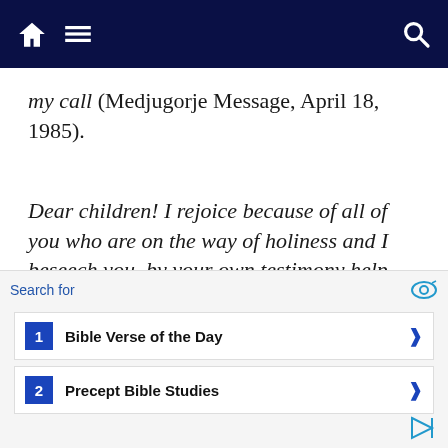Navigation bar with home, menu, and search icons
my call (Medjugorje Message, April 18, 1985).
Dear children! I rejoice because of all of you who are on the way of holiness and I beseech you, by your own testimony help those who do not know how to live in holiness. Therefore, dear
[Figure (screenshot): Advertisement overlay with search bar showing 'Search for' and two ad items: 1. Bible Verse of the Day, 2. Precept Bible Studies]